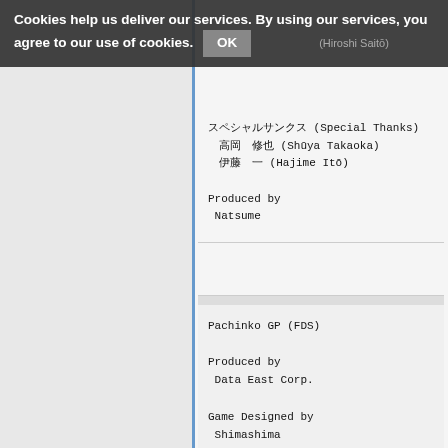Cookies help us deliver our services. By using our services, you agree to our use of cookies. OK
スペシャルサンクス (Special Thanks)
高岡 修也 (Shūya Takaoka)
伊藤 一 (Hajime Itō)
Produced by
 Natsume
Pachinko GP (FDS)
Produced by
 Data East Corp.
Game Designed by
 Shimashima
Computer Designed by
 Pink Dragon
Music Composed by
 Tarorisu (Hironari Tadokoro)